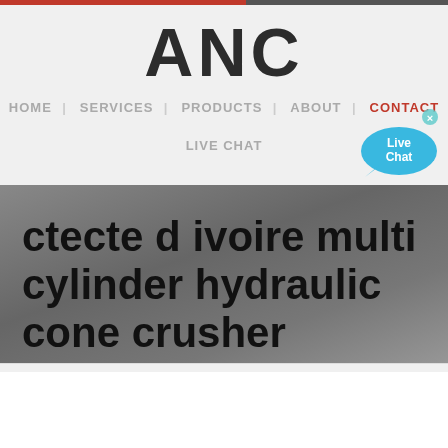ANC
HOME | SERVICES | PRODUCTS | ABOUT | CONTACT
LIVE CHAT
ctecte d ivoire multi cylinder hydraulic cone crusher